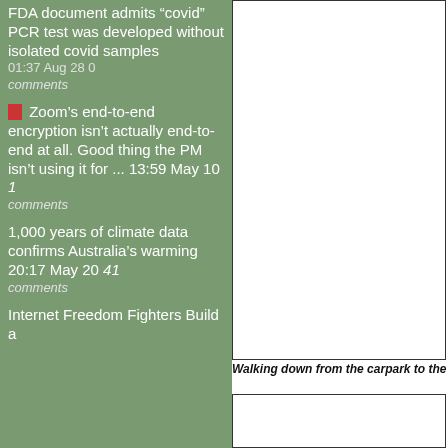FDA document admits “covid” PCR test was developed without isolated covid samples 01:37 Aug 28 0 comments
Zoom’s end-to-end encryption isn’t actually end-to-end at all. Good thing the PM isn’t using it for ... 13:59 May 10 1 comments
1,000 years of climate data confirms Australia’s warming 20:17 May 20 41 comments
Internet Freedom Fighters Build a
[Figure (photo): Large white/blank image box at top right of page]
Walking down from the carpark to the pier for
[Figure (photo): Smaller white/blank image box at bottom right of page]